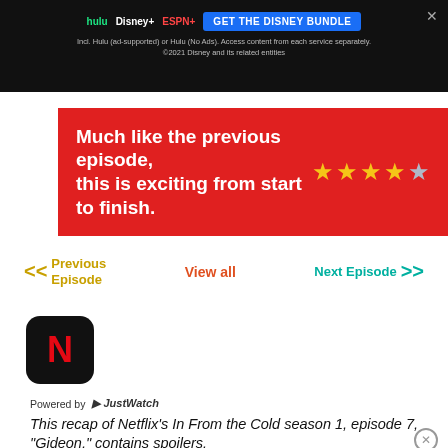[Figure (screenshot): Hulu Disney+ ESPN+ advertisement banner: 'GET THE DISNEY BUNDLE' with fine print about ad-supported Hulu.]
Much like the previous episode, this is exciting from start to finish.
[Figure (other): 4.5 star rating shown with yellow and grey stars]
<< Previous Episode    View all    Next Episode >>
[Figure (logo): Netflix app icon - black rounded square with red N]
Powered by JustWatch
This recap of Netflix's In From the Cold season 1, episode 7, “Gideon,” contains spoilers.
Read the review of season 1.